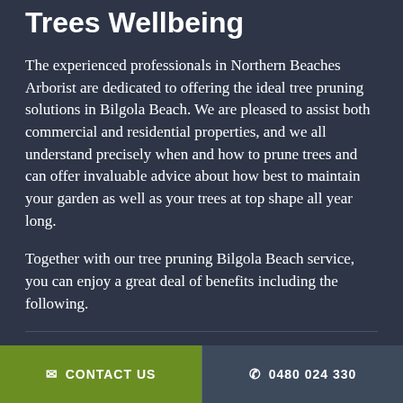Trees Wellbeing
The experienced professionals in Northern Beaches Arborist are dedicated to offering the ideal tree pruning solutions in Bilgola Beach. We are pleased to assist both commercial and residential properties, and we all understand precisely when and how to prune trees and can offer invaluable advice about how best to maintain your garden as well as your trees at top shape all year long.
Together with our tree pruning Bilgola Beach service, you can enjoy a great deal of benefits including the following.
Longer plant life and better energy
CONTACT US  |  0480 024 330